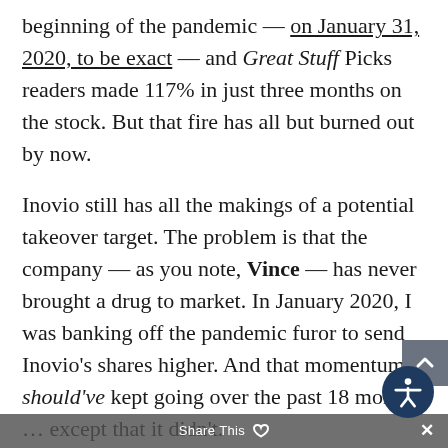beginning of the pandemic — on January 31, 2020, to be exact — and Great Stuff Picks readers made 117% in just three months on the stock. But that fire has all but burned out by now.
Inovio still has all the makings of a potential takeover target. The problem is that the company — as you note, Vince — has never brought a drug to market. In January 2020, I was banking off the pandemic furor to send Inovio's shares higher. And that momentum should've kept going over the past 18 months … except that it didn't.
The issue here isn't Inovio's DNA technology. That appears to be solid, and we'll get more info on said tech when Inovio finally submits its COVID-19 vaccine to the FDA. However, it's taken Inovio way too long to...